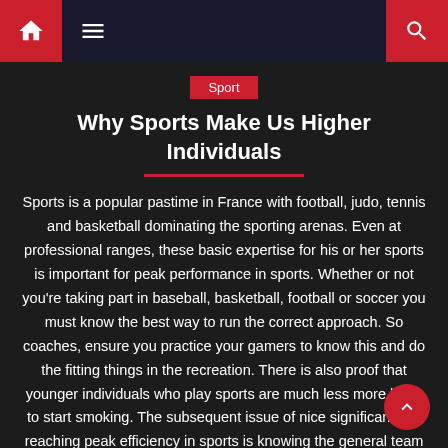Navigation bar with home, menu, and search icons
Sport
Why Sports Make Us Higher Individuals
Sports is a popular pastime in France with football, judo, tennis and basketball dominating the sporting arenas. Even at professional ranges, these basic expertise for his or her sports is important for peak performance in sports. Whether or not you're taking part in baseball, basketball, football or soccer you must know the best way to run the correct approach. So coaches, ensure you practice your gamers to know this and do the fitting things in the recreation. There is also proof that younger individuals who play sports are much less more likely to start smoking. The subsequent issue of nice significance in reaching peak efficiency in sports is knowing the general team play by the players. The